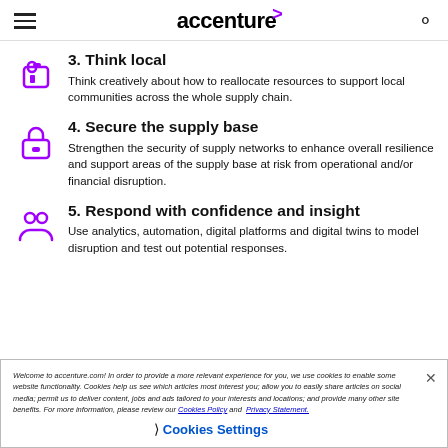accenture
3. Think local — Think creatively about how to reallocate resources to support local communities across the whole supply chain.
4. Secure the supply base — Strengthen the security of supply networks to enhance overall resilience and support areas of the supply base at risk from operational and/or financial disruption.
5. Respond with confidence and insight — Use analytics, automation, digital platforms and digital twins to model disruption and test out potential responses.
Welcome to accenture.com! In order to provide a more relevant experience for you, we use cookies to enable some website functionality. Cookies help us see which articles most interest you; allow you to easily share articles on social media; permit us to deliver content, jobs and ads tailored to your interests and locations; and provide many other site benefits. For more information, please review our Cookies Policy and Privacy Statement.
Cookies Settings